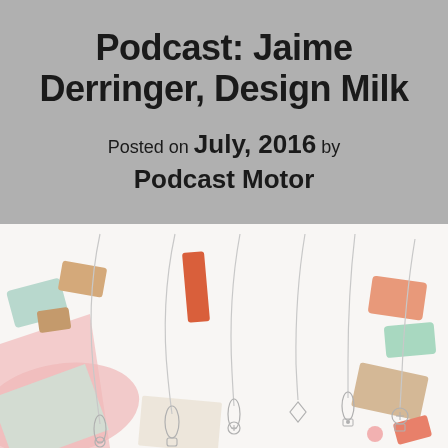Podcast: Jaime Derringer, Design Milk
Posted on July, 2016 by Podcast Motor
[Figure (photo): Flat lay photo of delicate silver necklaces with various pendant shapes arranged on a white surface, surrounded by colorful geometric blocks and paper pieces in pastel colors (pink, mint, coral, tan).]